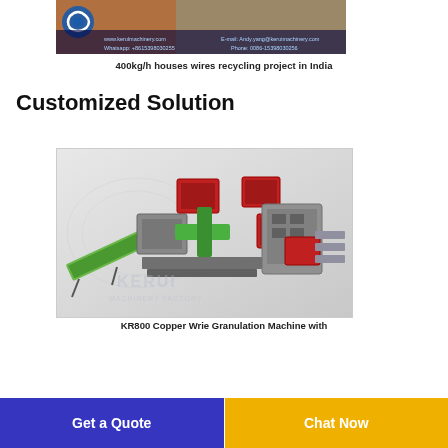[Figure (photo): Top portion of a wire recycling machine photo with Kerui Machinery branding, website and contact info overlay]
400kg/h houses wires recycling project in India
Customized Solution
[Figure (photo): 3D rendering of KR800 Copper Wire Granulation Machine showing industrial machinery with red, green and grey components including conveyor belts, with KERUI MACHINERY FACTORY watermark]
KR800 Copper Wrie Granulation Machine with
Get a Quote
Chat Now